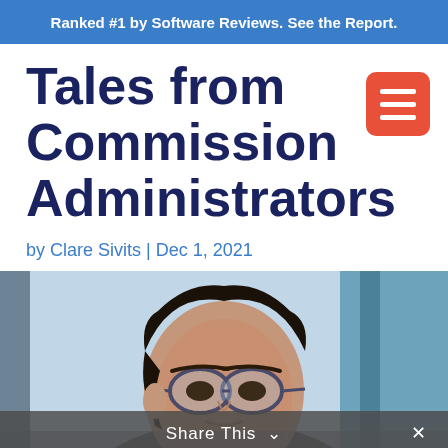Ranked #1 by Software Reviews. See the Report.
Tales from Commission Administrators
by Clare Sivits | Dec 1, 2021
[Figure (photo): A person with glasses looking at a computer screen, photographed from a slightly elevated angle, in an office environment.]
Share This